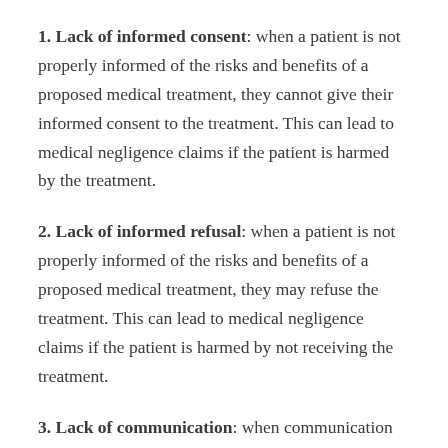1. Lack of informed consent: when a patient is not properly informed of the risks and benefits of a proposed medical treatment, they cannot give their informed consent to the treatment. This can lead to medical negligence claims if the patient is harmed by the treatment.
2. Lack of informed refusal: when a patient is not properly informed of the risks and benefits of a proposed medical treatment, they may refuse the treatment. This can lead to medical negligence claims if the patient is harmed by not receiving the treatment.
3. Lack of communication: when communication between a patient and their medical care team breaks down, it can lead to medical negligence claims. This can happen if a patient is not properly informed of their condition or treatment plan, or if there is a miscommunication about the risks and benefits of a